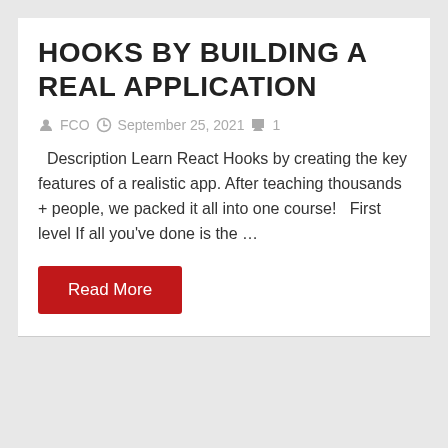HOOKS BY BUILDING A REAL APPLICATION
FCO  September 25, 2021  1
Description Learn React Hooks by creating the key features of a realistic app. After teaching thousands + people, we packed it all into one course!  First level If all you've done is the …
Read More